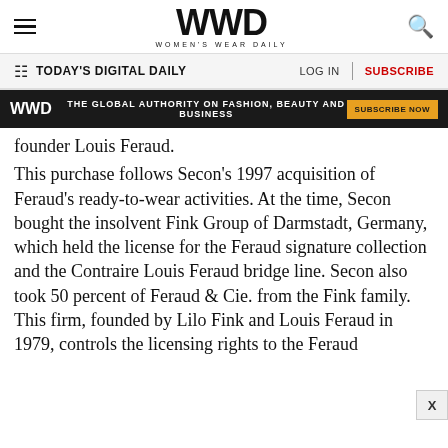WWD WOMEN'S WEAR DAILY
TODAY'S DIGITAL DAILY | LOG IN | SUBSCRIBE
[Figure (screenshot): WWD ad banner: THE GLOBAL AUTHORITY ON FASHION, BEAUTY AND BUSINESS — SUBSCRIBE NOW]
founder Louis Feraud. This purchase follows Secon's 1997 acquisition of Feraud's ready-to-wear activities. At the time, Secon bought the insolvent Fink Group of Darmstadt, Germany, which held the license for the Feraud signature collection and the Contraire Louis Feraud bridge line. Secon also took 50 percent of Feraud & Cie. from the Fink family. This firm, founded by Lilo Fink and Louis Feraud in 1979, controls the licensing rights to the Feraud